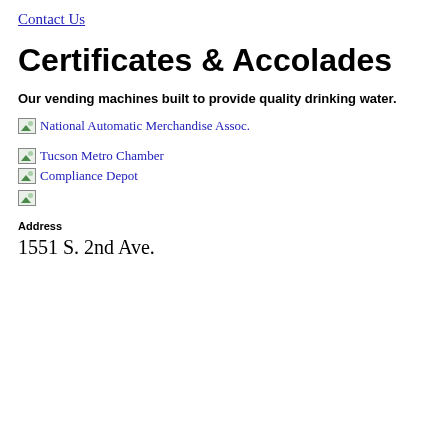Contact Us
Certificates & Accolades
Our vending machines built to provide quality drinking water.
[Figure (photo): Broken image placeholder link labeled 'National Automatic Merchandise Assoc.']
[Figure (photo): Broken image placeholder link labeled 'Tucson Metro Chamber']
[Figure (photo): Broken image placeholder with text 'Compliance Depot']
[Figure (photo): Small broken image placeholder]
Address
1551 S. 2nd Ave.